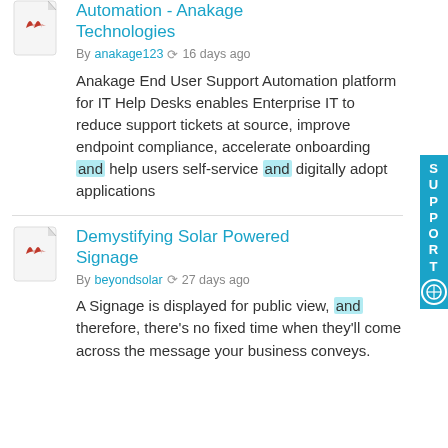Automation - Anakage Technologies
By anakage123  16 days ago
Anakage End User Support Automation platform for IT Help Desks enables Enterprise IT to reduce support tickets at source, improve endpoint compliance, accelerate onboarding and help users self-service and digitally adopt applications
Demystifying Solar Powered Signage
By beyondsolar  27 days ago
A Signage is displayed for public view, and therefore, there's no fixed time when they'll come across the message your business conveys.